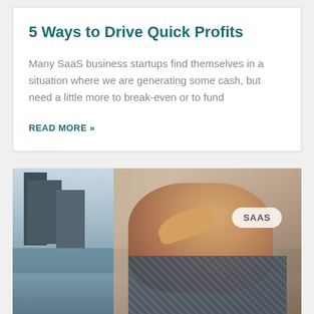5 Ways to Drive Quick Profits
Many SaaS business startups find themselves in a situation where we are generating some cash, but need a little more to break-even or to fund
READ MORE »
[Figure (photo): A young boy looking into the distance with hand raised to forehead, standing near a waterfront with city buildings in the blurred background. A 'SAAS' badge is overlaid on the top right of the image.]